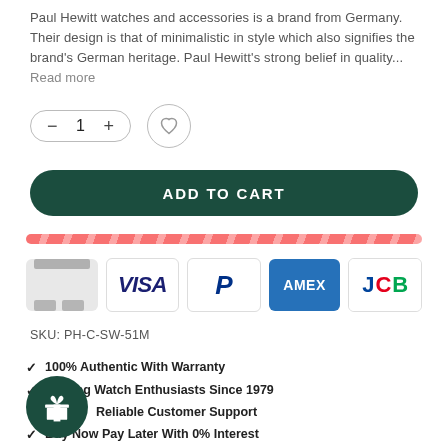Paul Hewitt watches and accessories is a brand from Germany. Their design is that of minimalistic in style which also signifies the brand's German heritage. Paul Hewitt's strong belief in quality... Read more
[Figure (screenshot): Quantity selector control with minus, 1, plus buttons in rounded border; wishlist heart icon button]
[Figure (screenshot): ADD TO CART dark green rounded button]
[Figure (screenshot): Red diagonal stripe divider bar]
[Figure (screenshot): Payment icons: generic credit card, VISA, PayPal P, AMEX, JCB]
SKU: PH-C-SW-51M
100% Authentic With Warranty
Serving Watch Enthusiasts Since 1979
Reliable Customer Support
Buy Now Pay Later With 0% Interest